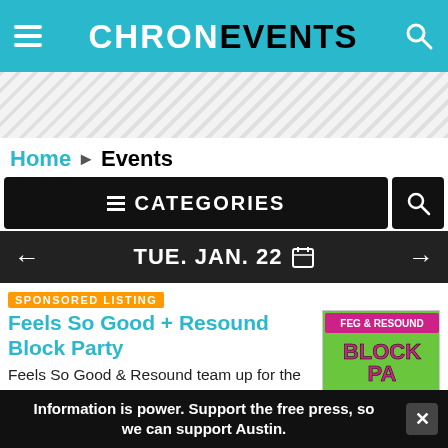CHRON EVENTS
[Figure (screenshot): Diagonal stripe banner area]
Home ▸ Events
≡ CATEGORIES
← TUE. JAN. 22 📅 →
SPONSORED LISTING
Feels So Good + Resound Block Party
Feels So Good & Resound team up for the ultimate Block Party. With 2 stages, 11 bands, Vendor Market, Food, Drinks, & more. Free
[Figure (photo): Event flyer for Feels So Good + Resound Block Party with green background and block party text]
Information is power. Support the free press, so we can support Austin.